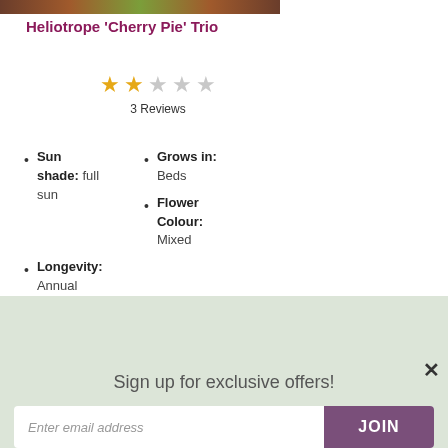[Figure (photo): Top strip of a flower photo showing purple/red heliotrope plant]
Heliotrope 'Cherry Pie' Trio
[Figure (other): Star rating: 2 out of 5 stars, 3 Reviews]
Sun shade: full sun
Grows in: Beds
Flower Colour: Mixed
Longevity: Annual
Sign up for exclusive offers!
Enter email address
JOIN